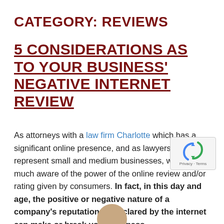CATEGORY: REVIEWS
5 CONSIDERATIONS AS TO YOUR BUSINESS' NEGATIVE INTERNET REVIEW
As attorneys with a law firm Charlotte which has a significant online presence, and as lawyers who represent small and medium businesses, we are very much aware of the power of the online review and/or rating given by consumers. In fact, in this day and age, the positive or negative nature of a company's reputation as declared by the internet can make or break your business.
[Figure (other): reCAPTCHA widget in bottom right corner showing recycle-arrows icon with Privacy and Terms labels]